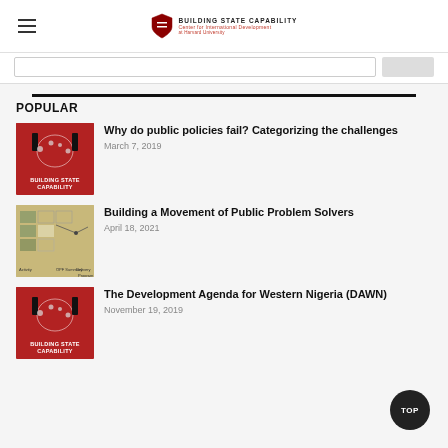BUILDING STATE CAPABILITY | Center for International Development at Harvard University
POPULAR
Why do public policies fail? Categorizing the challenges
March 7, 2019
Building a Movement of Public Problem Solvers
April 18, 2021
The Development Agenda for Western Nigeria (DAWN)
November 19, 2019